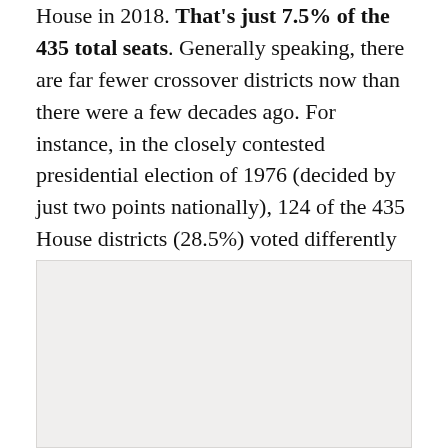House in 2018. That's just 7.5% of the 435 total seats. Generally speaking, there are far fewer crossover districts now than there were a few decades ago. For instance, in the closely contested presidential election of 1976 (decided by just two points nationally), 124 of the 435 House districts (28.5%) voted differently for president and House.
[Figure (other): A light gray rectangular image or chart area below the text block.]